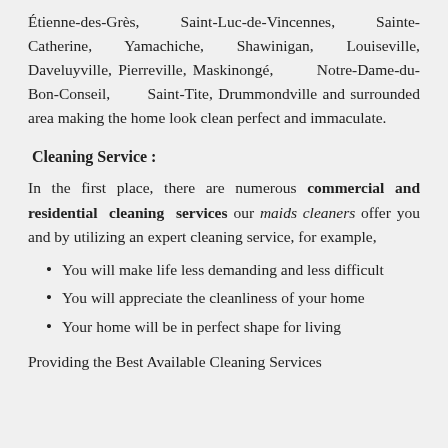Étienne-des-Grès, Saint-Luc-de-Vincennes, Sainte-Catherine, Yamachiche, Shawinigan, Louiseville, Daveluyville, Pierreville, Maskinongé, Notre-Dame-du-Bon-Conseil, Saint-Tite, Drummondville and surrounded area making the home look clean perfect and immaculate.
Cleaning Service :
In the first place, there are numerous commercial and residential cleaning services our maids cleaners offer you and by utilizing an expert cleaning service, for example,
You will make life less demanding and less difficult
You will appreciate the cleanliness of your home
Your home will be in perfect shape for living
Providing the Best Available Cleaning Services